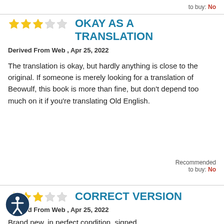to buy: No
OKAY AS A TRANSLATION
Derived From Web , Apr 25, 2022
The translation is okay, but hardly anything is close to the original. If someone is merely looking for a translation of Beowulf, this book is more than fine, but don't depend too much on it if you're translating Old English.
Recommended to buy: No
CORRECT VERSION
Derived From Web , Apr 25, 2022
Brand new, in perfect condition, signed